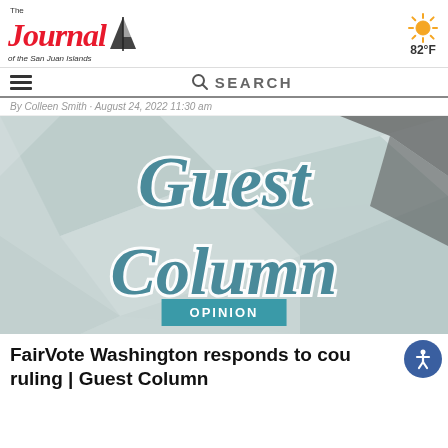The Journal of the San Juan Islands
82°F
By Colleen Smith · August 24, 2022 11:30 am
[Figure (illustration): Guest Column decorative image with script lettering on geometric paper background and OPINION badge]
FairVote Washington responds to court ruling | Guest Column